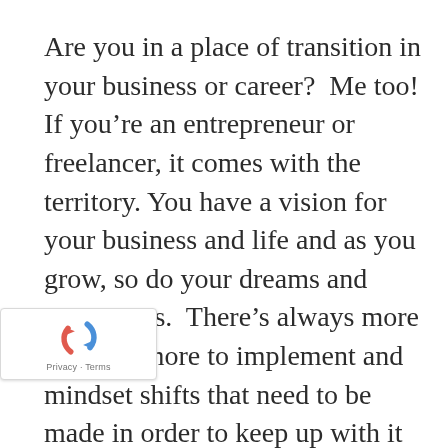Are you in a place of transition in your business or career?  Me too!  If you're an entrepreneur or freelancer, it comes with the territory. You have a vision for your business and life and as you grow, so do your dreams and aspirations.  There's always more to learn, more to implement and mindset shifts that need to be made in order to keep up with it all.
It's not always the most comfortable place to be is it?
But being an entrepreneur or freelancer